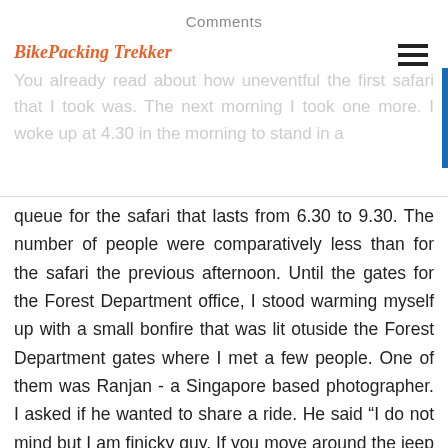Comments
BikePacking Trekker
You already read about how uneventful the first safari that I took was. The next morning I took one more. I woke up at 4.30 in the morning to stand in a queue for the safari that lasts from 6.30 to 9.30. The number of people were comparatively less than for the safari the previous afternoon. Until the gates for the Forest Department office, I stood warming myself up with a small bonfire that was lit otuside the Forest Department gates where I met a few people. One of them was Ranjan - a Singapore based photographer. I asked if he wanted to share a ride. He said “I do not mind but I am finicky guy. If you move around the jeep too much or make noise or do something silly, I might snap” Just the right kind of  no non-sense